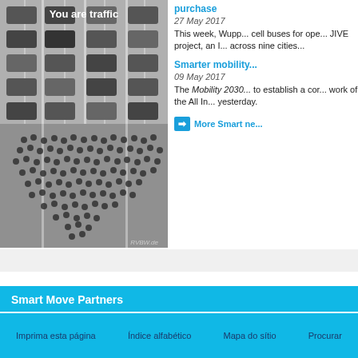[Figure (photo): Black and white aerial photo of a highway filled with cars at top, and a large crowd of people gathered on the road below, with text overlay 'You are traffic' at top. Credit: RVBW.de]
purchase
27 May 2017
This week, Wupp... cell buses for ope... JIVE project, an I... across nine cities...
Smarter mobility...
09 May 2017
The Mobility 2030... to establish a cor... work of the All In... yesterday.
➡ More Smart ne...
Smart Move Partners
Imprima esta página   Índice alfabético   Mapa do sítio   Procurar